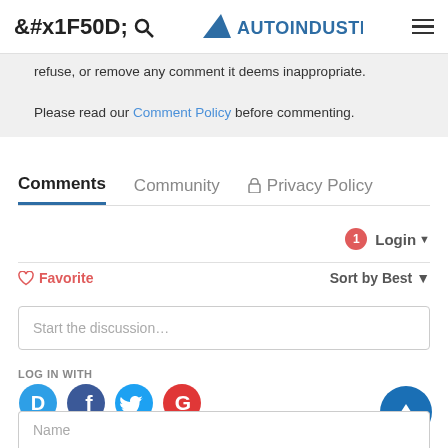AutoIndustriya.com
refuse, or remove any comment it deems inappropriate.
Please read our Comment Policy before commenting.
Comments  Community  Privacy Policy
1  Login
♡ Favorite    Sort by Best
Start the discussion...
LOG IN WITH
[Figure (logo): Four social login icons: Disqus (blue speech bubble D), Facebook (dark blue F circle), Twitter (blue bird circle), Google (red G circle)]
OR SIGN UP WITH DISQUS (?)
Name